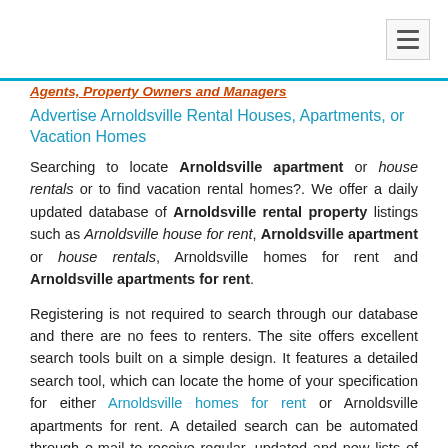Agents, Property Owners and Managers
Advertise Arnoldsville Rental Houses, Apartments, or Vacation Homes
Searching to locate Arnoldsville apartment or house rentals or to find vacation rental homes?. We offer a daily updated database of Arnoldsville rental property listings such as Arnoldsville house for rent, Arnoldsville apartment or house rentals, Arnoldsville homes for rent and Arnoldsville apartments for rent.
Registering is not required to search through our database and there are no fees to renters. The site offers excellent search tools built on a simple design. It features a detailed search tool, which can locate the home of your specification for either Arnoldsville homes for rent or Arnoldsville apartments for rent. A detailed search can be automated through e-mail to receive regular, updated and new lists of rental homes or apartments suiting your requirement by providing information such as zip code, county and area .
Locate details of each matching property such as parking, maps and neighborhood statistics. You can view 360 virtual tours, full size